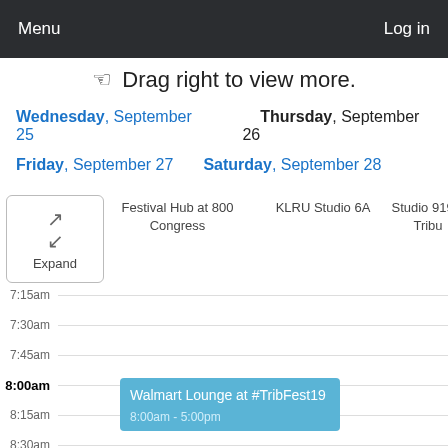Menu   Log in
☞ Drag right to view more.
Wednesday, September 25    Thursday, September 26
Friday, September 27    Saturday, September 28
Expand
Festival Hub at 800 Congress
KLRU Studio 6A
Studio 919 a Tribu
7:15am
7:30am
7:45am
8:00am
8:15am
8:30am
8:45am
Walmart Lounge at #TribFest19
8:00am - 5:00pm